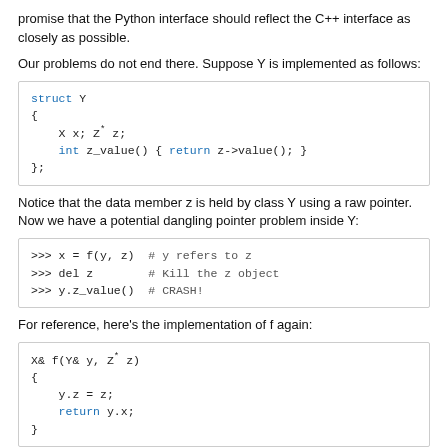promise that the Python interface should reflect the C++ interface as closely as possible.
Our problems do not end there. Suppose Y is implemented as follows:
[Figure (screenshot): Code block showing struct Y definition with X x; Z* z; members and int z_value() method returning z->value();]
Notice that the data member z is held by class Y using a raw pointer. Now we have a potential dangling pointer problem inside Y:
[Figure (screenshot): Python interactive session: x = f(y, z) # y refers to z, del z # Kill the z object, y.z_value() # CRASH!]
For reference, here's the implementation of f again:
[Figure (screenshot): Code block showing X& f(Y& y, Z* z) function with y.z = z; return y.x;]
Here's what's happening: